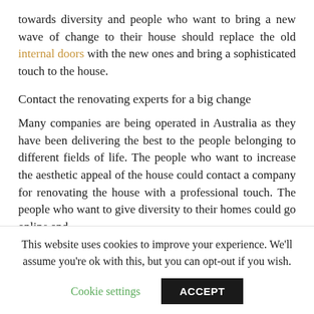towards diversity and people who want to bring a new wave of change to their house should replace the old internal doors with the new ones and bring a sophisticated touch to the house.
Contact the renovating experts for a big change
Many companies are being operated in Australia as they have been delivering the best to the people belonging to different fields of life. The people who want to increase the aesthetic appeal of the house could contact a company for renovating the house with a professional touch. The people who want to give diversity to their homes could go online and
This website uses cookies to improve your experience. We'll assume you're ok with this, but you can opt-out if you wish.
Cookie settings   ACCEPT